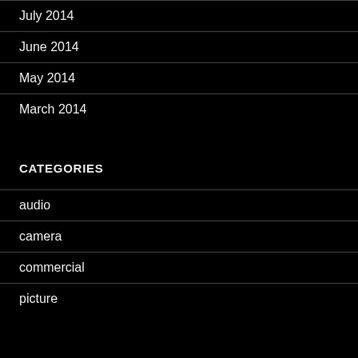July 2014
June 2014
May 2014
March 2014
CATEGORIES
audio
camera
commercial
picture